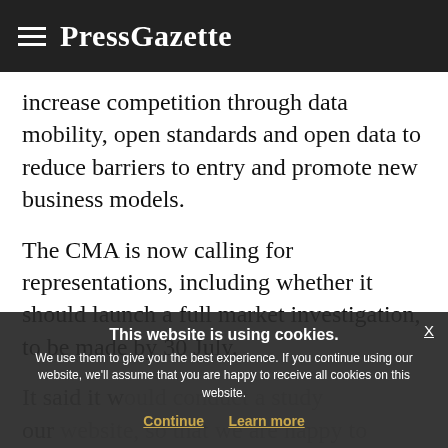PressGazette
increase competition through data mobility, open standards and open data to reduce barriers to entry and promote new business models.
The CMA is now calling for representations, including whether it should launch a full market investigation, to be made by 30 July.
It said it w... study our... proposed actions by 2 July next year.
This website is using cookies. We use them to give you the best experience. If you continue using our website, we'll assume that you are happy to receive all cookies on this website.